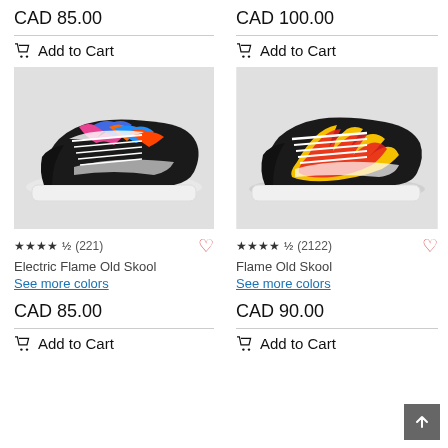CAD 85.00
Add to Cart
[Figure (photo): Electric Flame Old Skool sneaker with colorful blue/orange/pink flame pattern on black canvas upper, white sole]
★★★★½ (221)
Electric Flame Old Skool
See more colors
CAD 85.00
Add to Cart
CAD 100.00
Add to Cart
[Figure (photo): Flame Old Skool sneaker with yellow and red flame pattern on black canvas upper, white sole]
★★★★½ (2122)
Flame Old Skool
See more colors
CAD 90.00
Add to Cart